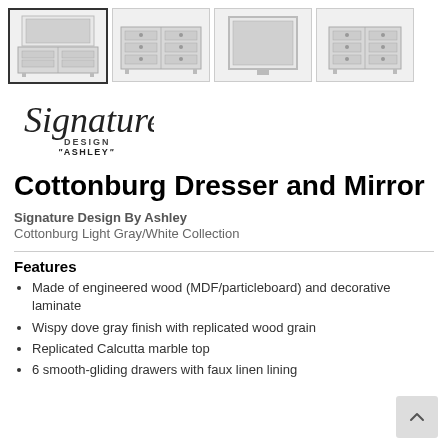[Figure (photo): Four product thumbnail images of Cottonburg Dresser and Mirror from different angles: dresser with mirror, dresser front view, mirror only, dresser side view]
[Figure (logo): Signature Design by Ashley logo with cursive Signature text and DESIGN BY ASHLEY in block letters]
Cottonburg Dresser and Mirror
Signature Design By Ashley
Cottonburg Light Gray/White Collection
Features
Made of engineered wood (MDF/particleboard) and decorative laminate
Wispy dove gray finish with replicated wood grain
Replicated Calcutta marble top
6 smooth-gliding drawers with faux linen lining